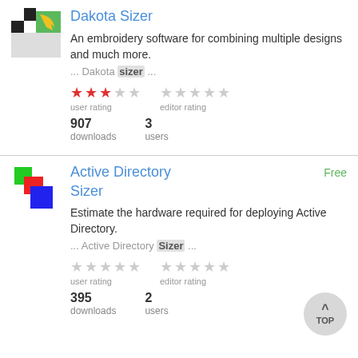Dakota Sizer
An embroidery software for combining multiple designs and much more.
... Dakota sizer ...
user rating: 3 stars, editor rating: 0 stars
907 downloads, 3 users
Active Directory Sizer — Free
Estimate the hardware required for deploying Active Directory.
... Active Directory Sizer ...
user rating: 0 stars, editor rating: 0 stars
395 downloads, 2 users